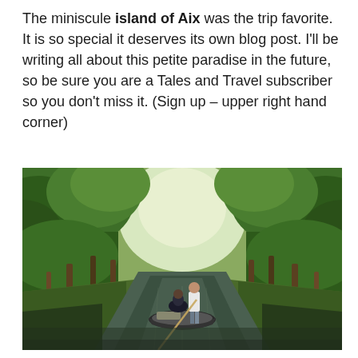The miniscule island of Aix was the trip favorite. It is so special it deserves its own blog post. I'll be writing all about this petite paradise in the future, so be sure you are a Tales and Travel subscriber so you don't miss it. (Sign up – upper right hand corner)
[Figure (photo): A person standing on a flat-bottomed boat using a long pole to navigate a narrow, calm canal or waterway surrounded by lush green trees on both sides. One or two passengers are seated in the boat. The scene is peaceful, with soft daylight filtering through the tree canopy.]